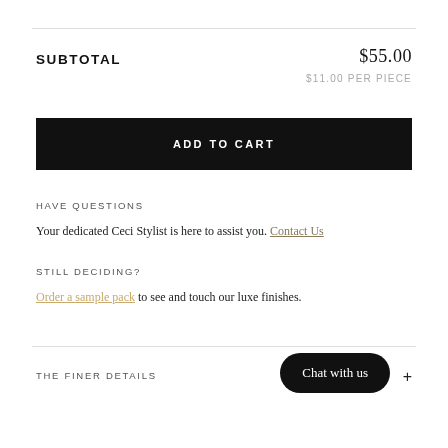SUBTOTAL
$55.00
$11.00 PER PIECE
ADD TO CART
HAVE QUESTIONS
Your dedicated Ceci Stylist is here to assist you. Contact Us
STILL DECIDING?
Order a sample pack to see and touch our luxe finishes.
THE FINER DETAILS
Chat with us